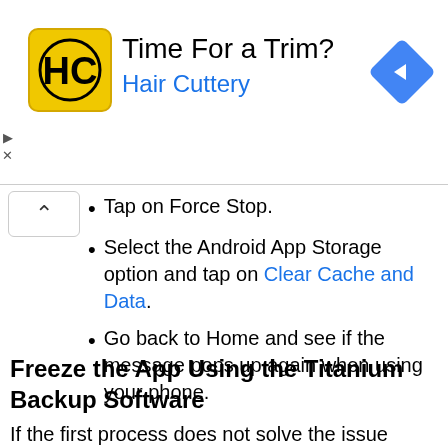[Figure (other): Hair Cuttery advertisement banner with HC logo, text 'Time For a Trim?' and 'Hair Cuttery', and a navigation arrow icon]
Tap on Force Stop.
Select the Android App Storage option and tap on Clear Cache and Data.
Go back to Home and see if the message pops up again when using your phone.
Freeze the App Using the Titanium Backup Software
If the first process does not solve the issue